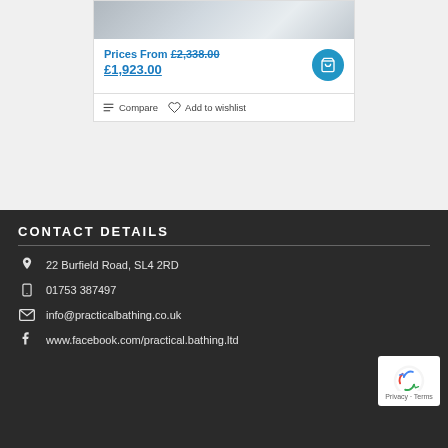[Figure (photo): Product photo of a bathroom fixture/walk-in bath, partially visible at top of card]
Prices From £2,338.00 £1,923.00
Compare   Add to wishlist
CONTACT DETAILS
22 Burfield Road, SL4 2RD
01753 387497
info@practicalbathing.co.uk
www.facebook.com/practical.bathing.ltd